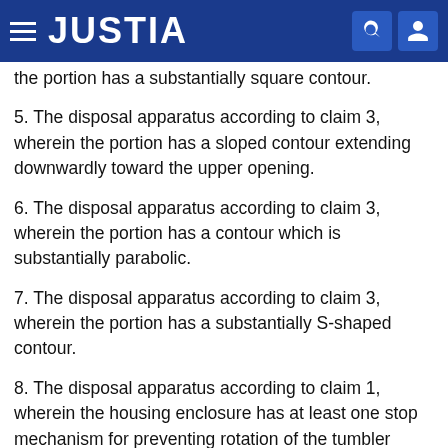JUSTIA
the portion has a substantially square contour.
5. The disposal apparatus according to claim 3, wherein the portion has a sloped contour extending downwardly toward the upper opening.
6. The disposal apparatus according to claim 3, wherein the portion has a contour which is substantially parabolic.
7. The disposal apparatus according to claim 3, wherein the portion has a substantially S-shaped contour.
8. The disposal apparatus according to claim 1, wherein the housing enclosure has at least one stop mechanism for preventing rotation of the tumbler beyond a predetermined position to maintain the upper opening blocked by the tumbler, the at least one stop